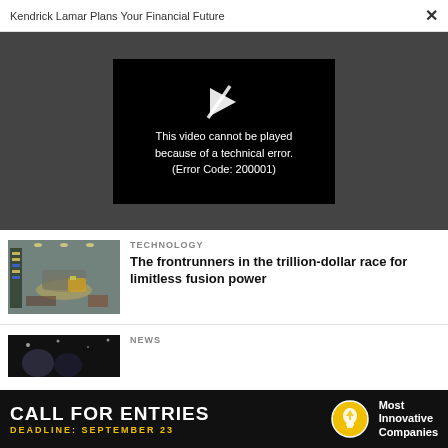Kendrick Lamar Plans Your Financial Future  ×
[Figure (screenshot): Video player showing error: This video cannot be played because of a technical error. (Error Code: 200001)]
[Figure (photo): Warehouse or factory interior with shelving and machinery]
TECHNOLOGY
The frontrunners in the trillion-dollar race for limitless fusion power
[Figure (photo): Dark space or night scene with silhouettes]
NEWS
[Figure (infographic): Advertisement banner: CALL FOR ENTRIES DEADLINE: SEPTEMBER 23 — Most Innovative Companies]